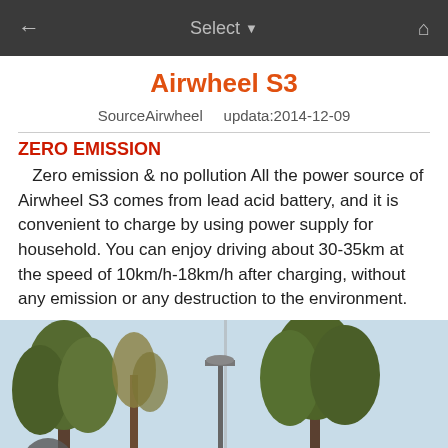← Select ▾ 🏠
Airwheel S3
SourceAirwheel    updata:2014-12-09
ZERO EMISSION
Zero emission & no pollution All the power source of Airwheel S3 comes from lead acid battery, and it is convenient to charge by using power supply for household. You can enjoy driving about 30-35km at the speed of 10km/h-18km/h after charging, without any emission or any destruction to the environment.
[Figure (photo): Outdoor park scene with tall trees and a street lamp, split view]